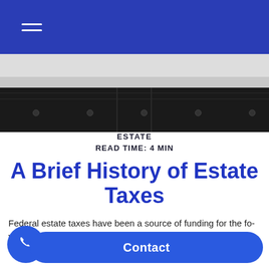[Figure (photo): Hero image showing a dark architectural surface (possibly a building facade or fence) with a light sky above, appearing as a horizontal banner image.]
ESTATE
READ TIME: 4 MIN
A Brief History of Estate Taxes
Federal estate taxes have been a source of funding for the fo...ove...
In 1797, Congress instituted a system of federal stamps that